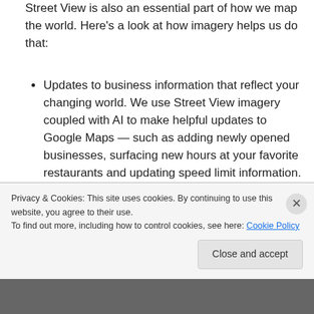Street View is also an essential part of how we map the world. Here's a look at how imagery helps us do that:
Updates to business information that reflect your changing world. We use Street View imagery coupled with AI to make helpful updates to Google Maps — such as adding newly opened businesses, surfacing new hours at your favorite restaurants and updating speed limit information. In fact, over the last
Privacy & Cookies: This site uses cookies. By continuing to use this website, you agree to their use.
To find out more, including how to control cookies, see here: Cookie Policy
Close and accept